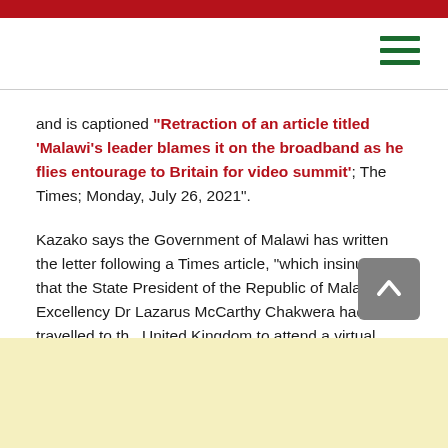[red top bar and hamburger menu navigation]
and is captioned “Retraction of an article titled ‘Malawi’s leader blames it on the broadband as he flies entourage to Britain for video summit’; The Times; Monday, July 26, 2021”.
Kazako says the Government of Malawi has written the letter following a Times article, “which insinuated that the State President of the Republic of Malawi, His Excellency Dr Lazarus McCarthy Chakwera had travelled to the United Kingdom to attend a virtual meeting due to internet connectivity in Malawi”.